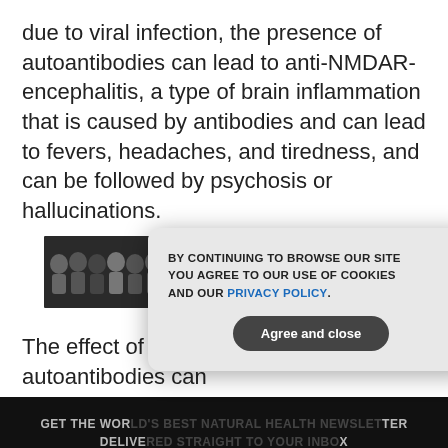due to viral infection, the presence of autoantibodies can lead to anti-NMDAR-encephalitis, a type of brain inflammation that is caused by antibodies and can lead to fevers, headaches, and tiredness, and can be followed by psychosis or hallucinations.
[Figure (other): Advertisement banner: black background with photos of people on left, text 'WATCH LIVE SHOWS DAILY ON BRIGHTEON.TV' in white and red 'WATCH NOW' button]
The effect of these NMDA receptor autoantibodies can
[Figure (infographic): Dark newsletter signup section with text 'GET THE WORLD'S BEST NATURAL HEALTH NEWSLETTER DELIVERED STRAIGHT TO YOUR INBOX', email input field and SUBSCRIBE button]
[Figure (other): Cookie consent modal dialog with text 'BY CONTINUING TO BROWSE OUR SITE YOU AGREE TO OUR USE OF COOKIES AND OUR PRIVACY POLICY.' and 'Agree and close' button. Has X close button in top right corner.]